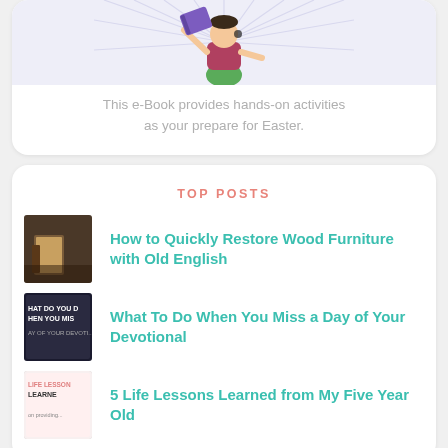[Figure (illustration): Cartoon character tossing books with radiating background lines]
This e-Book provides hands-on activities as your prepare for Easter.
TOP POSTS
[Figure (photo): Thumbnail of wood furniture]
How to Quickly Restore Wood Furniture with Old English
[Figure (photo): Thumbnail with text 'WHAT DO YOU DO WHEN YOU MISS A DAY OF YOUR DEVOTION']
What To Do When You Miss a Day of Your Devotional
[Figure (photo): Thumbnail with text 'LIFE LESSONS LEARNED']
5 Life Lessons Learned from My Five Year Old